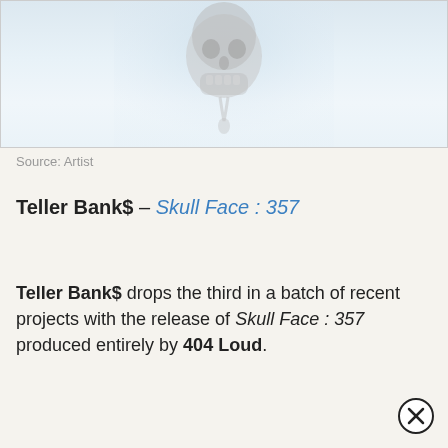[Figure (photo): Album cover art showing a skull/figure partially visible against a light blue-white background]
Source: Artist
Teller Bank$ – Skull Face : 357
Teller Bank$ drops the third in a batch of recent projects with the release of Skull Face : 357 produced entirely by 404 Loud.